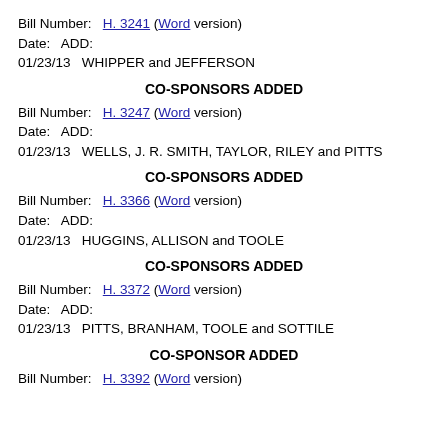Bill Number:  H. 3241 (Word version)
Date:   ADD:
01/23/13   WHIPPER and JEFFERSON
CO-SPONSORS ADDED
Bill Number:  H. 3247 (Word version)
Date:   ADD:
01/23/13   WELLS, J. R. SMITH, TAYLOR, RILEY and PITTS
CO-SPONSORS ADDED
Bill Number:  H. 3366 (Word version)
Date:   ADD:
01/23/13   HUGGINS, ALLISON and TOOLE
CO-SPONSORS ADDED
Bill Number:  H. 3372 (Word version)
Date:   ADD:
01/23/13   PITTS, BRANHAM, TOOLE and SOTTILE
CO-SPONSOR ADDED
Bill Number:  H. 3392 (Word version)